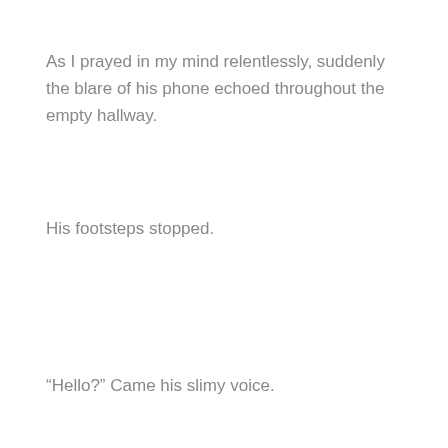As I prayed in my mind relentlessly, suddenly the blare of his phone echoed throughout the empty hallway.
His footsteps stopped.
“Hello?” Came his slimy voice.